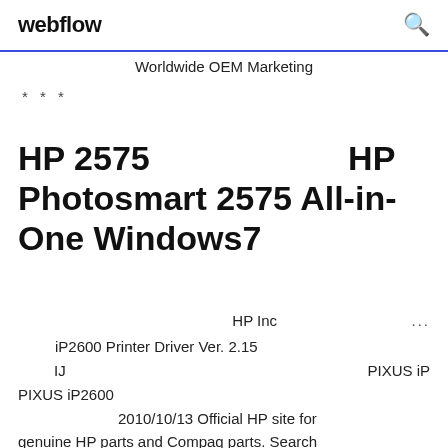webflow [search icon]
Worldwide OEM Marketing
* * *
HP 2575   HP Photosmart 2575 All-in-One Windows7
HP Inc ...
iP2600 Printer Driver Ver. 2.15
IJ   PIXUS iP
PIXUS iP2600
2010/10/13 Official HP site for genuine HP parts and Compaq parts. Search through thousands of replacement parts for HP